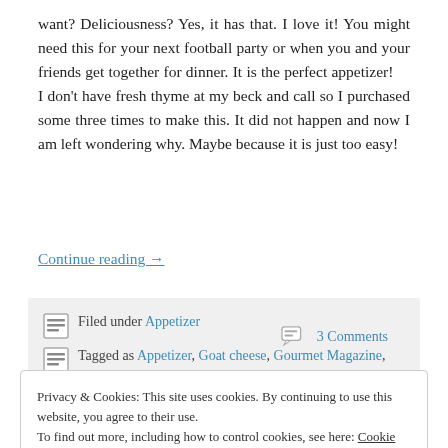want?  Deliciousness?  Yes, it has that.  I love it!  You might need this for your next football party or when you and your friends get together for dinner.  It is the perfect appetizer!    I don't have fresh thyme at my beck and call so I purchased some three times to make this.  It did not happen and now I am left wondering why.  Maybe because it is just too easy!
Continue reading →
Filed under Appetizer   3 Comments
Tagged as Appetizer, Goat cheese, Gourmet Magazine, Olives
Privacy & Cookies: This site uses cookies. By continuing to use this website, you agree to their use.
To find out more, including how to control cookies, see here: Cookie Policy
Close and accept